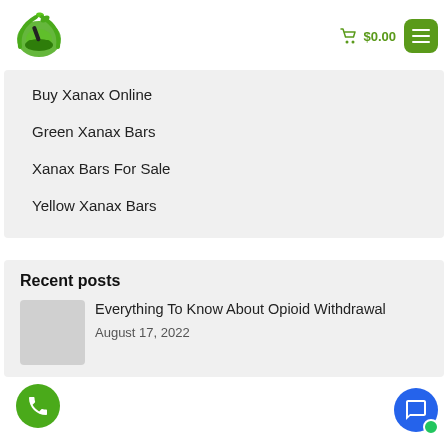[Figure (logo): Green leaf and mortar/pestle pharmacy logo with a bird]
🛒 $0.00
Buy Xanax Online
Green Xanax Bars
Xanax Bars For Sale
Yellow Xanax Bars
Recent posts
Everything To Know About Opioid Withdrawal
August 17, 2022